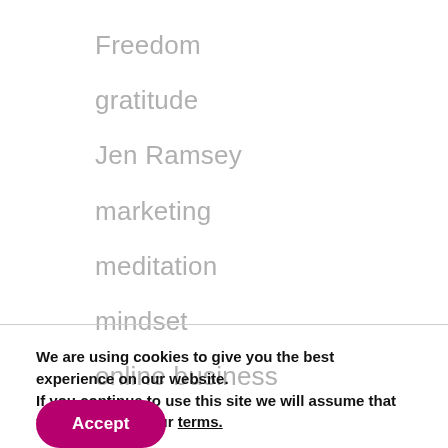Freedom
gratitude
Jen Ramsey
marketing
meditation
mindset
online business
We are using cookies to give you the best experience on our website.
If you continue to use this site we will assume that you are ok with our terms.
Accept